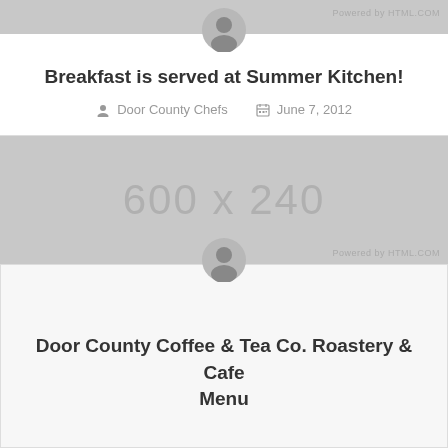Powered by HTML.COM
Breakfast is served at Summer Kitchen!
Door County Chefs   June 7, 2012
[Figure (other): Gray placeholder image block showing dimensions 600 x 240]
Powered by HTML.COM
Door County Coffee & Tea Co. Roastery & Cafe Menu